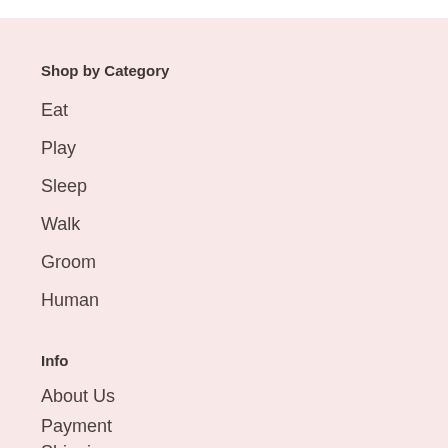Shop by Category
Eat
Play
Sleep
Walk
Groom
Human
Info
About Us
Payment
Shipping